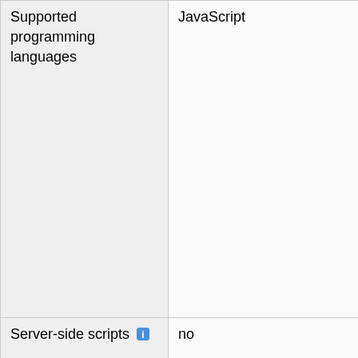| Supported programming languages | JavaScript |
| Server-side scripts [icon] | no |